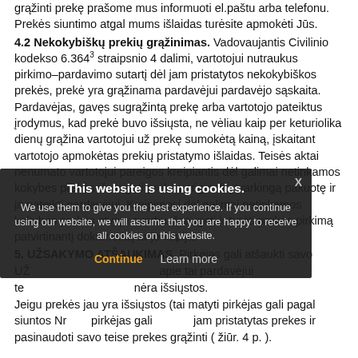grąžinti prekę prašome mus informuoti el.paštu arba telefonu. Prekės siuntimo atgal mums išlaidas turėsite apmokėti Jūs.
4.2 Nekokybiškų prekių grąžinimas. Vadovaujantis Civilinio kodekso 6.364³ straipsnio 4 dalimi, vartotojui nutraukus pirkimo–pardavimo sutartį dėl jam pristatytos nekokybiškos prekės, prekė yra grąžinama pardavėjui pardavėjo sąskaita. Pardavėjas, gavęs sugrąžintą prekę arba vartotojo pateiktus įrodymus, kad prekė buvo išsiųsta, ne vėliau kaip per keturiolika dienų grąžina vartotojui už prekę sumokėtą kainą, įskaitant vartotojo apmokėtas prekių pristatymo išlaidas. Teisės aktai nenumato vartotojui pareigos kreipiantis dėl galimai netinkamos kokybės prekės išsaugoti prekės originalią tvarkingą pakuotę ir ją pateikti pardavėjui. Kreipimosi dėl galimai netinkamos kokybės prekės atveju svarbu išsaugoti ir turėti prekės pirkimą patvirtinantį dokumentą ar jo kopija.
5. UŽSAKYMO ATŠAUKIMAS.
Pirkėjas gali atšaukti savo UŽ … apie tai pardavėjui te… nėra išsiųstos. Jeigu prekės jau yra išsiųstos (tai matyti pirkėjas gali pagal siuntos Nr… pirkėjas gali atsisakyti jam pristatytos prekės ir pasinaudoti savo teise prekes grąžinti ( žiūr. 4 p. ).
[Figure (screenshot): Cookie consent banner overlay on document. Dark semi-transparent background with title 'This website is using cookies.', body text 'We use them to give you the best experience. If you continue using our website, we will assume that you are happy to receive all cookies on this website.' with 'Continue' button in orange and 'Learn more' link in grey, and an X close button.]